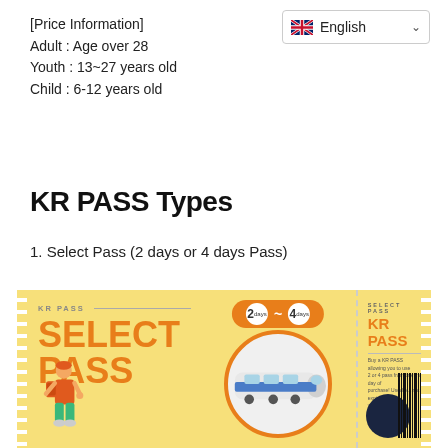[Figure (infographic): UK flag icon with English language selector dropdown]
[Price Information]
Adult : Age over 28
Youth : 13~27 years old
Child : 6-12 years old
KR PASS Types
1. Select Pass (2 days or 4 days Pass)
[Figure (infographic): KR PASS Select Pass ticket image showing a yellow perforated train pass with SELECT PASS text in orange, a traveler illustration, a train inside a circle, days badge showing 2 and 4, and a right stub with KR PASS branding and barcode]